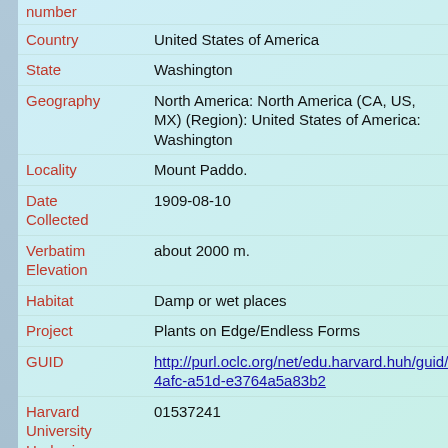number
Country: United States of America
State: Washington
Geography: North America: North America (CA, US, MX) (Region): United States of America: Washington
Locality: Mount Paddo.
Date Collected: 1909-08-10
Verbatim Elevation: about 2000 m.
Habitat: Damp or wet places
Project: Plants on Edge/Endless Forms
GUID: http://purl.oclc.org/net/edu.harvard.huh/guid/uuid/22b92f5-4afc-a51d-e3764a5a83b2
Harvard University Herbaria Barcode: 01537241
Herbarium: A
Family: Ericaceae
Determination: Cassiope mertensiana (Bongard) D. Don
Determined: G. D. Wallace bis